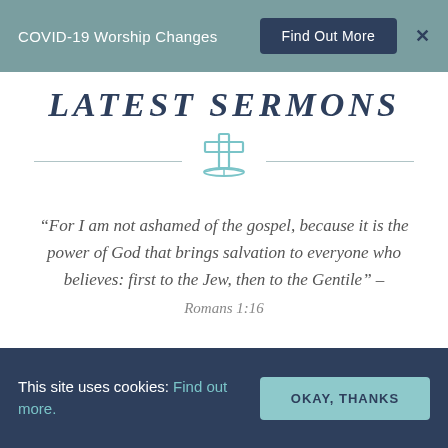COVID-19 Worship Changes  Find Out More  ×
LATEST SERMONS
[Figure (illustration): A teal/mint colored cross above an open book, flanked by horizontal divider lines]
“For I am not ashamed of the gospel, because it is the power of God that brings salvation to everyone who believes: first to the Jew, then to the Gentile” – Romans 1:16
This site uses cookies: Find out more.  OKAY, THANKS